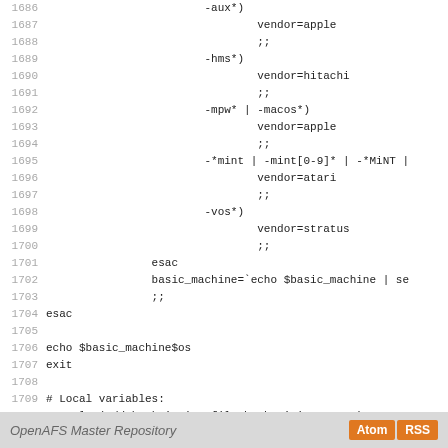Code listing lines 1686-1714 from a shell script (config.sub), showing vendor detection case statements and local variable comments. Part of OpenAFS Master Repository.
OpenAFS Master Repository  [Atom] [RSS]